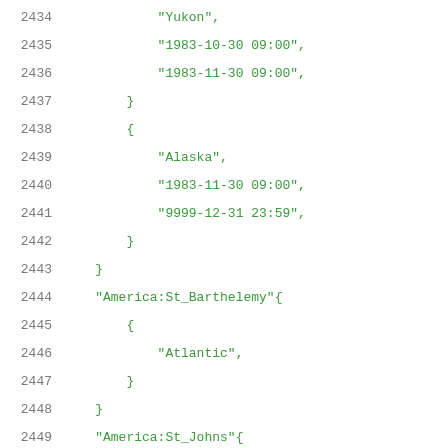Code listing lines 2434–2454 showing timezone data structure in green monospace on white background
2434    "Yukon",
2435    "1983-10-30 09:00",
2436    "1983-11-30 09:00",
2437    }
2438    {
2439    "Alaska",
2440    "1983-11-30 09:00",
2441    "9999-12-31 23:59",
2442    }
2443    }
2444    "America:St_Barthelemy"{
2445    {
2446    "Atlantic",
2447    }
2448    }
2449    "America:St_Johns"{
2450    {
2451    "Newfoundland",
2452    }
2453    }
2454    "America:St_Kitts"{